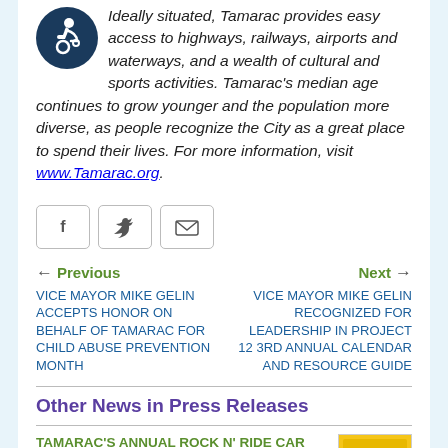Ideally situated, Tamarac provides easy access to highways, railways, airports and waterways, and a wealth of cultural and sports activities. Tamarac's median age continues to grow younger and the population more diverse, as people recognize the City as a great place to spend their lives. For more information, visit www.Tamarac.org.
[Figure (illustration): Accessibility icon — white wheelchair user on dark blue circular background]
[Figure (illustration): Social sharing buttons: Facebook (f), Twitter (bird), Email (envelope)]
Previous — VICE MAYOR MIKE GELIN ACCEPTS HONOR ON BEHALF OF TAMARAC FOR CHILD ABUSE PREVENTION MONTH
Next — VICE MAYOR MIKE GELIN RECOGNIZED FOR LEADERSHIP IN PROJECT 12 3RD ANNUAL CALENDAR AND RESOURCE GUIDE
Other News in Press Releases
TAMARAC'S ANNUAL ROCK N' RIDE CAR